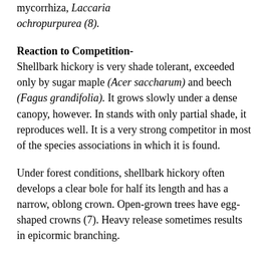mycorrhiza, Laccaria ochropurpurea (8).
Reaction to Competition- Shellbark hickory is very shade tolerant, exceeded only by sugar maple (Acer saccharum) and beech (Fagus grandifolia). It grows slowly under a dense canopy, however. In stands with only partial shade, it reproduces well. It is a very strong competitor in most of the species associations in which it is found.
Under forest conditions, shellbark hickory often develops a clear bole for half its length and has a narrow, oblong crown. Open-grown trees have egg-shaped crowns (7). Heavy release sometimes results in epicormic branching.